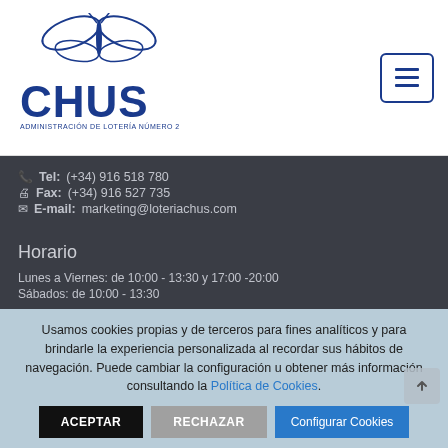[Figure (logo): CHUS - Administración de Lotería Número 2 logo with blue dragonfly graphic and blue bold text CHUS below]
Tel: (+34) 916 518 780
Fax: (+34) 916 527 735
E-mail: marketing@loteriachus.com
Horario
Lunes a Viernes: de 10:00 - 13:30 y 17:00 -20:00
Sábados: de 10:00 - 13:30
Usamos cookies propias y de terceros para fines analíticos y para brindarle la experiencia personalizada al recordar sus hábitos de navegación. Puede cambiar la configuración u obtener más información consultando la Política de Cookies.